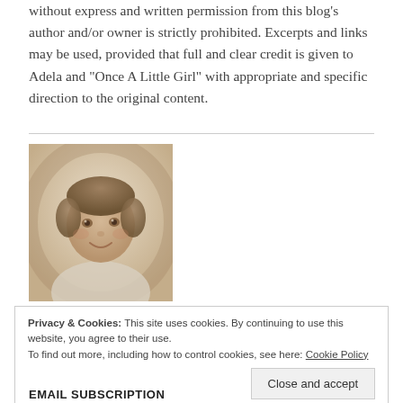without express and written permission from this blog's author and/or owner is strictly prohibited. Excerpts and links may be used, provided that full and clear credit is given to Adela and "Once A Little Girl" with appropriate and specific direction to the original content.
[Figure (photo): Sepia-toned vintage portrait photograph of a young girl smiling, looking slightly upward, wearing a light-colored top, soft background.]
Privacy & Cookies: This site uses cookies. By continuing to use this website, you agree to their use.
To find out more, including how to control cookies, see here: Cookie Policy
EMAIL SUBSCRIPTION